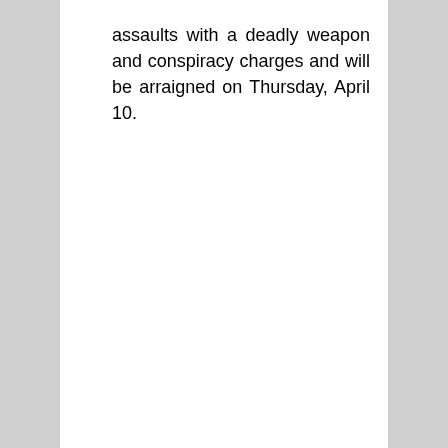assaults with a deadly weapon and conspiracy charges and will be arraigned on Thursday, April 10.